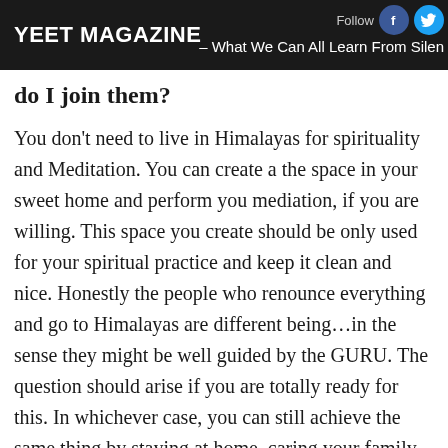YEET MAGAZINE – What We Can All Learn From Silen
do I join them?
You don't need to live in Himalayas for spirituality and Meditation. You can create a the space in your sweet home and perform you mediation, if you are willing. This space you create should be only used for your spiritual practice and keep it clean and nice. Honestly the people who renounce everything and go to Himalayas are different being…in the sense they might be well guided by the GURU. The question should arise if you are totally ready for this. In whichever case, you can still achieve the same thing by staying at home, caring your family and at the same time totally involve in spiritual practice. The GRACE is every where, you